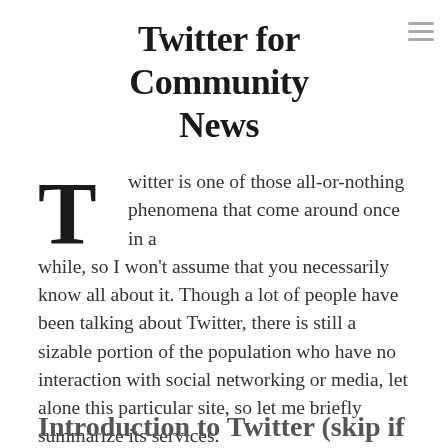Twitter for Community News
Twitter is one of those all-or-nothing phenomena that come around once in a while, so I won't assume that you necessarily know all about it. Though a lot of people have been talking about Twitter, there is still a sizable portion of the population who have no interaction with social networking or media, let alone this particular site, so let me briefly summarize its services.
Introduction to Twitter (skip if you feel so compelled)